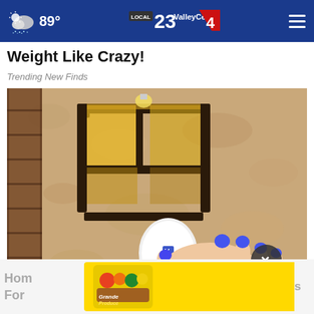89° — ValleyCentral.com — Channel 23/4 navigation bar
Weight Like Crazy!
Trending New Finds
[Figure (photo): A person with blue-painted fingernails installing or adjusting a white security camera bulb into an outdoor wall lantern fixture mounted on a stucco wall.]
[Figure (photo): Advertisement banner: Grande Produce — Customize Your Produce Box, with images of vegetables and fruits.]